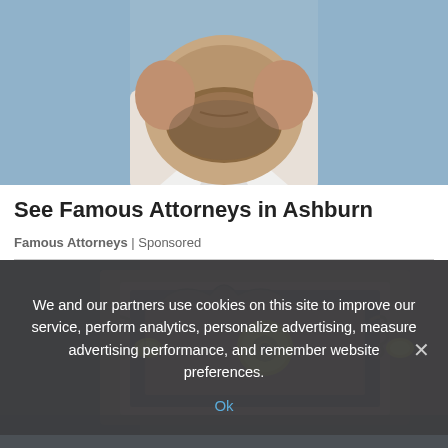[Figure (photo): Close-up photo of a man's face (chin, beard, white collar) against a blueish background — advertisement image for Famous Attorneys]
See Famous Attorneys in Ashburn
Famous Attorneys | Sponsored
[Figure (photo): Close-up photo of ornate wooden furniture drawer with a decorative brass rose-shaped knob and carved wood details]
We and our partners use cookies on this site to improve our service, perform analytics, personalize advertising, measure advertising performance, and remember website preferences.
Ok